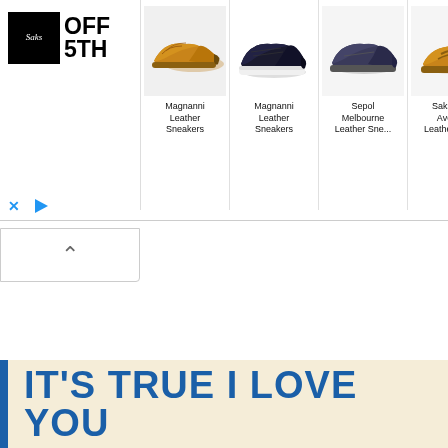[Figure (screenshot): Saks OFF 5TH online advertisement banner showing five men's shoes: Magnanni Leather Sneakers (tan), Magnanni Leather Sneakers (navy), Sepol Melbourne Leather Sne..., Saks Fifth Avenue Leather Driv..., Cavalli Class by Roberto Cavalli Sna... with ad close (x) and play button controls]
Magnanni Leather Sneakers
Magnanni Leather Sneakers
Sepol Melbourne Leather Sne...
Saks Fifth Avenue Leather Driv...
Cavalli Class by Roberto Cavalli Sna...
IT'S TRUE I LOVE YOU